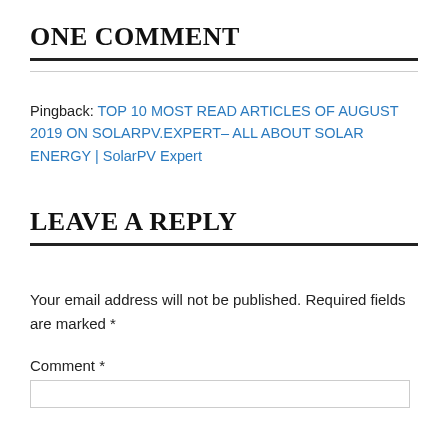ONE COMMENT
Pingback: TOP 10 MOST READ ARTICLES OF AUGUST 2019 ON SOLARPV.EXPERT– ALL ABOUT SOLAR ENERGY | SolarPV Expert
LEAVE A REPLY
Your email address will not be published. Required fields are marked *
Comment *